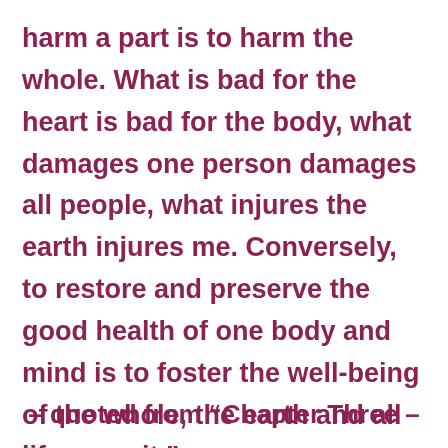harm a part is to harm the whole. What is bad for the heart is bad for the body, what damages one person damages all people, what injures the earth injures me. Conversely, to restore and preserve the good health of one body and mind is to foster the well-being of the whole, the earth and all life upon it.”
– quoted from “Chapter Three –